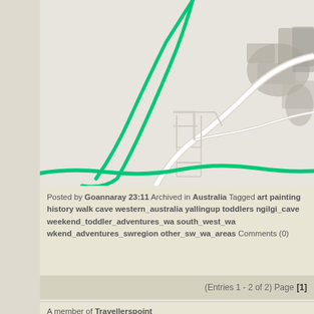[Figure (map): A partial street/road map showing green route lines over a light grey background with roads, blocks, and darker grey shaded areas representing buildings or terrain.]
Posted by Goannaray 23:11 Archived in Australia Tagged art painting history walk cave western_australia yallingup toddlers ngilgi_cave weekend_toddler_adventures_wa south_west_wa wkend_adventures_swregion other_sw_wa_areas Comments (0)
(Entries 1 - 2 of 2) Page [1]
A member of Travellerspoint
© Authors: Goannaray